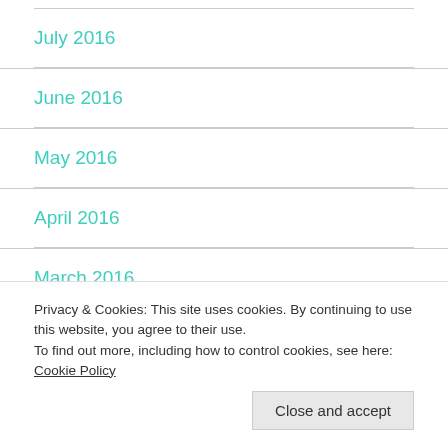July 2016
June 2016
May 2016
April 2016
March 2016
Privacy & Cookies: This site uses cookies. By continuing to use this website, you agree to their use.
To find out more, including how to control cookies, see here: Cookie Policy
December 2015